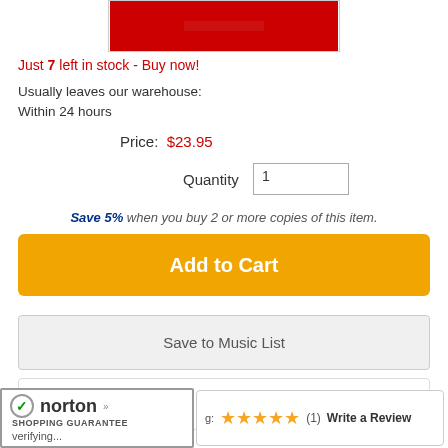[Figure (other): Product image thumbnail with red background]
Just 7 left in stock - Buy now!
Usually leaves our warehouse:
Within 24 hours
Price: $23.95
Quantity 1
Save 5% when you buy 2 or more copies of this item.
Add to Cart
Save to Music List
Additional Information
[Figure (logo): Norton Shopping Guarantee logo with verifying...]
Rating: ★★★★★ (1) Write a Review